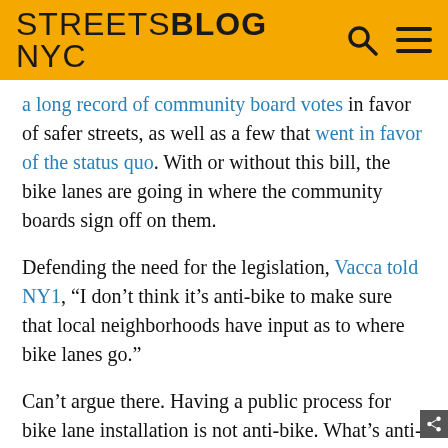STREETSBLOG NYC
a long record of community board votes in favor of safer streets, as well as a few that went in favor of the status quo. With or without this bill, the bike lanes are going in where the community boards sign off on them.
Defending the need for the legislation, Vacca told NY1, “I don’t think it’s anti-bike to make sure that local neighborhoods have input as to where bike lanes go.”
Can’t argue there. Having a public process for bike lane installation is not anti-bike. What’s anti-bike is to imply that the recent expansion of bike lanes has somehow lacked sufficient public input, which is the — — —